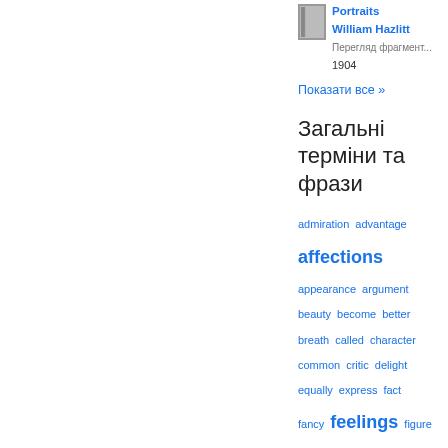[Figure (illustration): Small book thumbnail image for Portraits]
Portraits
William Hazlitt
Перегляд фрагменту
1904
Показати все »
Загальні терміни та фрази
admiration  advantage
affections
appearance  argument
beauty  become  better
breath  called  character
common  critic  delight
equally  express  fact
fancy  feelings  figure
friends  genius  give